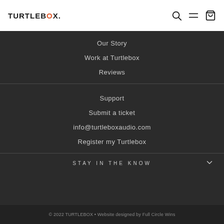TURTLEBOX.
Our Story
Work at Turtlebox
Reviews
Support
Submit a ticket
info@turtleboxaudio.com
Register my Turtlebox
STAY IN THE KNOW
© 2022 TURTLEBOX • Website designed by Full Circle Wins